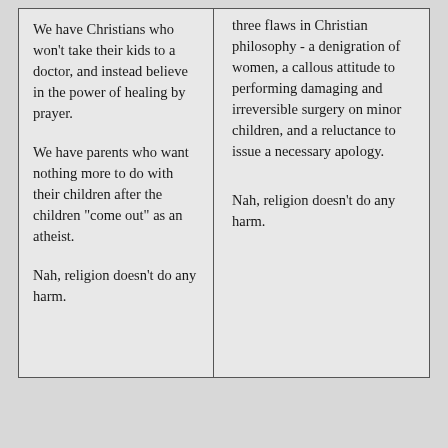We have Christians who won't take their kids to a doctor, and instead believe in the power of healing by prayer.
We have parents who want nothing more to do with their children after the children "come out" as an atheist.
Nah, religion doesn't do any harm.
three flaws in Christian philosophy - a denigration of women, a callous attitude to performing damaging and irreversible surgery on minor children, and a reluctance to issue a necessary apology.
Nah, religion doesn't do any harm.